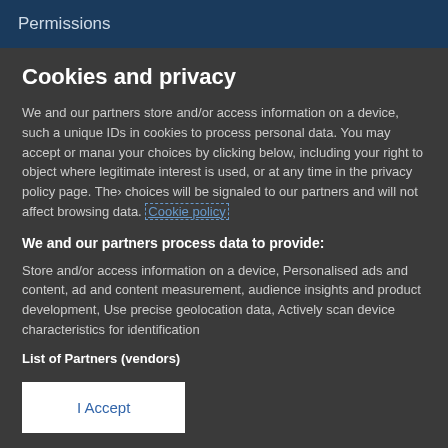Permissions
Cookies and privacy
We and our partners store and/or access information on a device, such as unique IDs in cookies to process personal data. You may accept or manage your choices by clicking below, including your right to object where legitimate interest is used, or at any time in the privacy policy page. These choices will be signaled to our partners and will not affect browsing data. Cookie policy
We and our partners process data to provide:
Store and/or access information on a device, Personalised ads and content, ad and content measurement, audience insights and product development, Use precise geolocation data, Actively scan device characteristics for identification
List of Partners (vendors)
I Accept